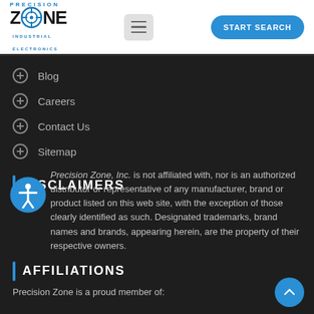[Figure (logo): Precision Zone Industrial Electronics logo with target crosshair icon]
[Figure (other): Hamburger menu button]
[Figure (other): START SEARCH button]
Blog
Careers
Contact Us
Sitemap
DISCLAIMERS
[Figure (other): Accessibility icon - person in circle]
Precision Zone, Inc. is not affiliated with, nor is an authorized distributor or representative of any manufacturer, brand or product listed on this web site, with the exception of those clearly identified as such. Designated trademarks, brand names and brands, appearing herein, are the property of their respective owners.
AFFILIATIONS
Precision Zone is a proud member of: